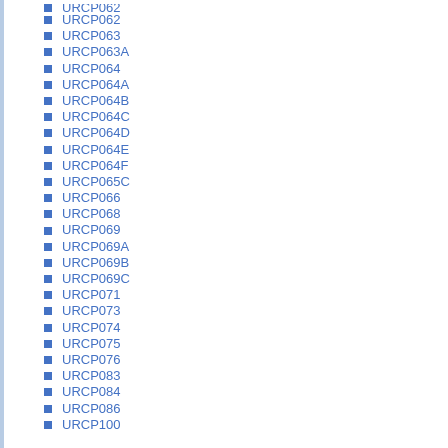URCP062
URCP063
URCP063A
URCP064
URCP064A
URCP064B
URCP064C
URCP064D
URCP064E
URCP064F
URCP065C
URCP066
URCP068
URCP069
URCP069A
URCP069B
URCP069C
URCP071
URCP073
URCP074
URCP075
URCP076
URCP083
URCP084
URCP086
URCP100